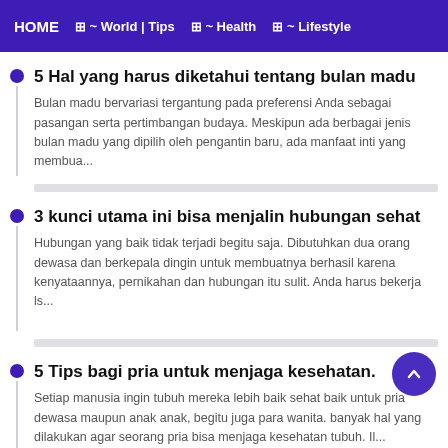HOME  ~ World | Tips  ~ Health  ~ Lifestyle
5 Hal yang harus diketahui tentang bulan madu
Bulan madu bervariasi tergantung pada preferensi Anda sebagai pasangan serta pertimbangan budaya. Meskipun ada berbagai jenis bulan madu yang dipilih oleh pengantin baru, ada manfaat inti yang membua...
3 kunci utama ini bisa menjalin hubungan sehat
Hubungan yang baik tidak terjadi begitu saja. Dibutuhkan dua orang dewasa dan berkepala dingin untuk membuatnya berhasil karena kenyataannya, pernikahan dan hubungan itu sulit. Anda harus bekerja Is...
5 Tips bagi pria untuk menjaga kesehatan.
Setiap manusia ingin tubuh mereka lebih baik sehat baik untuk pria dewasa maupun anak anak, begitu juga para wanita. banyak hal yang dilakukan agar seorang pria bisa menjaga kesehatan tubuh.  Il...